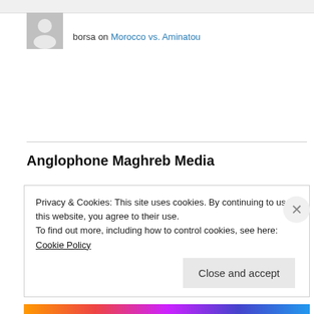borsa on Morocco vs. Aminatou
Anglophone Maghreb Media
AFROL North Africa
al-Fajr al-Jadid (Libya)
APS (Algeria, official)
El Moudjahid (Algeria, official)
el-Chorouk el-Youmi (Algeria)
el-Khabar (Algeria)
Privacy & Cookies: This site uses cookies. By continuing to use this website, you agree to their use. To find out more, including how to control cookies, see here: Cookie Policy
Close and accept